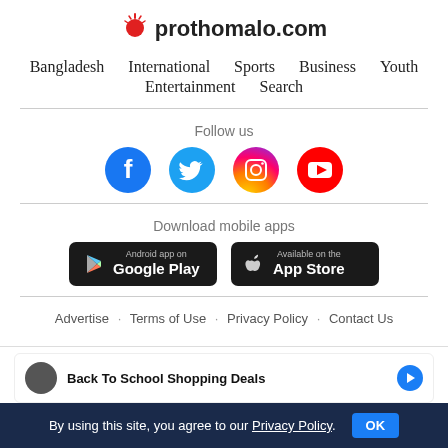prothomalo.com
Bangladesh  International  Sports  Business  Youth
Entertainment  Search
Follow us
[Figure (infographic): Social media icons: Facebook (blue circle with f), Twitter (blue circle with bird), Instagram (gradient circle with camera), YouTube (red circle with play button)]
Download mobile apps
[Figure (screenshot): Google Play and App Store download buttons on dark background]
Advertise · Terms of Use · Privacy Policy · Contact Us
Back To School Shopping Deals
By using this site, you agree to our Privacy Policy.